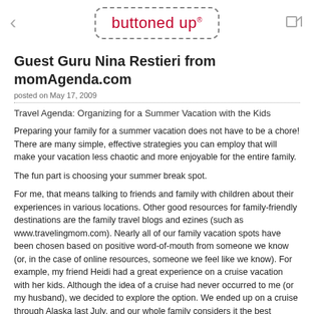buttoned up®
Guest Guru Nina Restieri from momAgenda.com
posted on May 17, 2009
Travel Agenda: Organizing for a Summer Vacation with the Kids
Preparing your family for a summer vacation does not have to be a chore! There are many simple, effective strategies you can employ that will make your vacation less chaotic and more enjoyable for the entire family.
The fun part is choosing your summer break spot.
For me, that means talking to friends and family with children about their experiences in various locations. Other good resources for family-friendly destinations are the family travel blogs and ezines (such as www.travelingmom.com). Nearly all of our family vacation spots have been chosen based on positive word-of-mouth from someone we know (or, in the case of online resources, someone we feel like we know). For example, my friend Heidi had a great experience on a cruise vacation with her kids. Although the idea of a cruise had never occurred to me (or my husband), we decided to explore the option. We ended up on a cruise through Alaska last July, and our whole family considers it the best vacation we've ever taken!
It is so important to do your homework before you go.